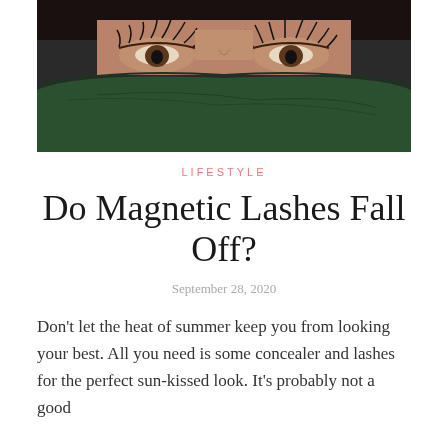[Figure (photo): Close-up photo of a woman's eyes with dramatic eyelashes, partially hiding her face behind a large dark green leaf]
LIFESTYLE
Do Magnetic Lashes Fall Off?
September 28, 2020
Don't let the heat of summer keep you from looking your best. All you need is some concealer and lashes for the perfect sun-kissed look. It's probably not a good idea to...